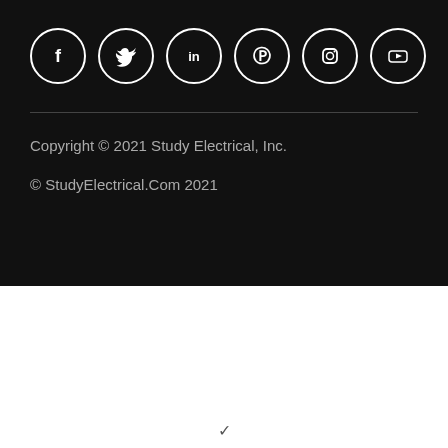[Figure (other): Row of 6 social media icon circles (Facebook, Twitter, LinkedIn, Pinterest, Instagram, YouTube) with white outlines on dark background]
Copyright © 2021 Study Electrical, Inc.
© StudyElectrical.Com 2021